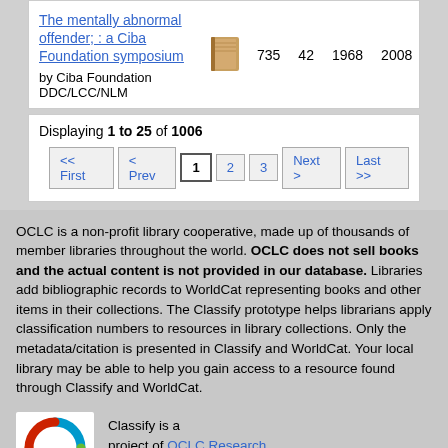| The mentally abnormal offender; : a Ciba Foundation symposium | book icon | 735 | 42 | 1968 | 2008 |
| by Ciba Foundation DDC/LCC/NLM |  |  |  |  |  |
Displaying 1 to 25 of 1006
<< First  < Prev  1  2  3  Next >  Last >>
OCLC is a non-profit library cooperative, made up of thousands of member libraries throughout the world. OCLC does not sell books and the actual content is not provided in our database. Libraries add bibliographic records to WorldCat representing books and other items in their collections. The Classify prototype helps librarians apply classification numbers to resources in library collections. Only the metadata/citation is presented in Classify and WorldCat. Your local library may be able to help you gain access to a resource found through Classify and WorldCat.
[Figure (logo): OCLC logo with colorful arc design]
Classify is a project of OCLC Research